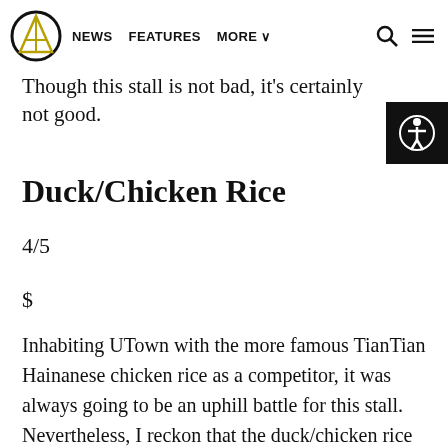NEWS  FEATURES  MORE
Though this stall is not bad, it's certainly not good.
Duck/Chicken Rice
4/5
$
Inhabiting UTown with the more famous TianTian Hainanese chicken rice as a competitor, it was always going to be an uphill battle for this stall. Nevertheless, I reckon that the duck/chicken rice managed to hold its own,